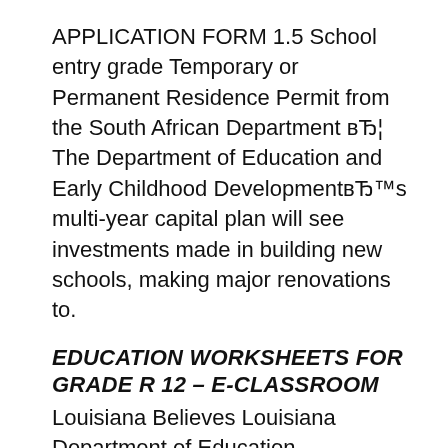APPLICATION FORM 1.5 School entry grade Temporary or Permanent Residence Permit from the South African Department вЂ¦ The Department of Education and Early Childhood DevelopmentвЂ™s multi-year capital plan will see investments made in building new schools, making major renovations to.
EDUCATION WORKSHEETS FOR GRADE R 12 – E-CLASSROOM
Louisiana Believes Louisiana Department of Education. Candidates who receive Department of Education bursaries can ask to be placed in a Grade 12 level of education; Department of Health Bursary Online Application., Department of Education. Education Home; Schools Online is